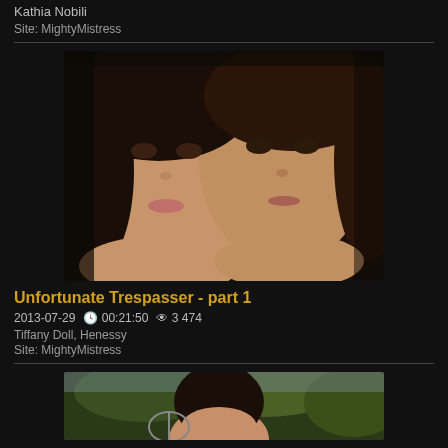Kathia Nobili
Site: MightyMistress
[Figure (photo): Close-up portrait of two young women side by side looking at camera]
Unfortunate Trespasser - part 1
2013-07-29   00:21:50   3 474
Tiffany Doll, Henessy
Site: MightyMistress
[Figure (photo): Partial portrait of a woman with dark hair outdoors with tennis racket and green foliage]